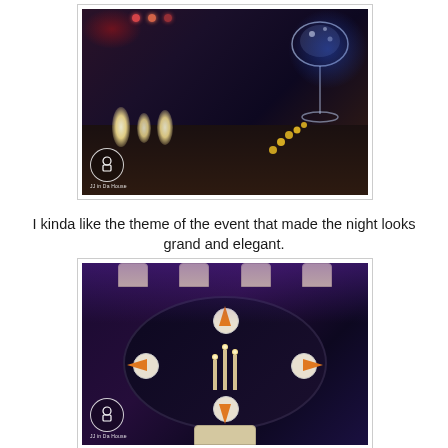[Figure (photo): Event banquet table with elegant decorations including candles, crystal glassware, gold beads and ornaments. Purple and blue ambient lighting with guests in background.]
I kinda like the theme of the event that made the night looks grand and elegant.
[Figure (photo): Aerial view of a round banquet table set with dark navy tablecloth, white plates, orange folded napkins, silverware, and candle centerpieces under purple ambient lighting.]